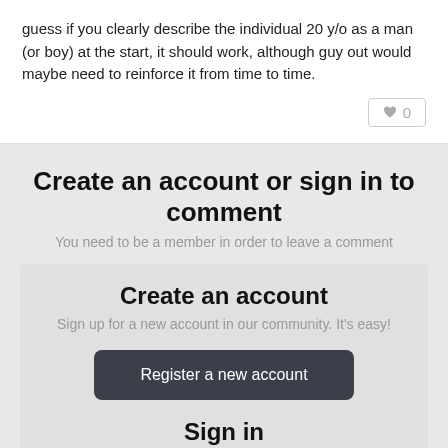guess if you clearly describe the individual 20 y/o as a man (or boy) at the start, it should work, although guy out would maybe need to reinforce it from time to time.
♥ 0
Create an account or sign in to comment
You need to be a member in order to leave a comment
Create an account
Sign up for a new account in our community. It's easy!
Register a new account
Sign in
Already have an account? Sign in here.
Sign In Now